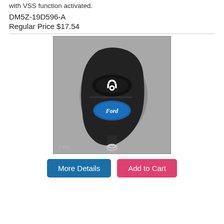with VSS function activated.
DM5Z-19D596-A
Regular Price $17.54
[Figure (photo): Ford key fob remote with a single oval button with a white loop/remote start symbol and a Ford oval logo badge on the lower portion. A key ring is attached at the bottom. The fob is dark/black plastic on a grey background.]
More Details
Add to Cart